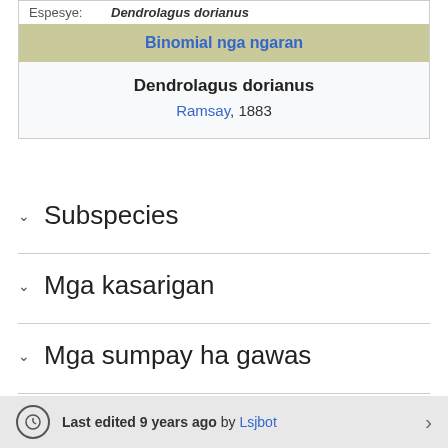| Espesye: | Dendrolagus dorianus |
| Binomial nga ngaran |  |
| Dendrolagus dorianus |  |
| Ramsay, 1883 |  |
Subspecies
Mga kasarigan
Mga sumpay ha gawas
Last edited 9 years ago by Lsjbot